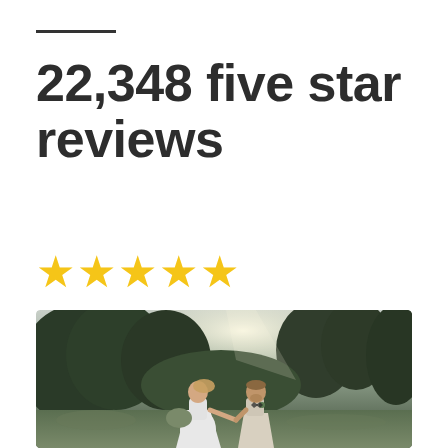22,348 five star reviews
★★★★★
[Figure (photo): A bride in a white dress holding a bouquet and a groom in a light suit holding hands, running through a green outdoor setting with trees in the background, sunlight filtering through.]